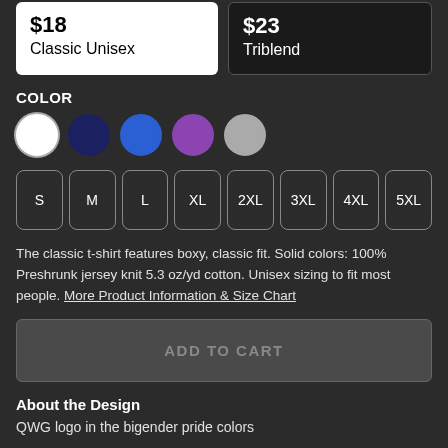$18 Classic Unisex
$23 Triblend
COLOR
[Figure (other): Five color swatches: white (selected, with ring), navy, blue, purple, gray]
[Figure (other): Size selector buttons: S, M, L, XL, 2XL, 3XL, 4XL, 5XL]
The classic t-shirt features boxy, classic fit. Solid colors: 100% Preshrunk jersey knit 5.3 oz/yd cotton. Unisex sizing to fit most people. More Product Information & Size Chart
ADD TO CART
About the Design
QWG logo in the bigender pride colors